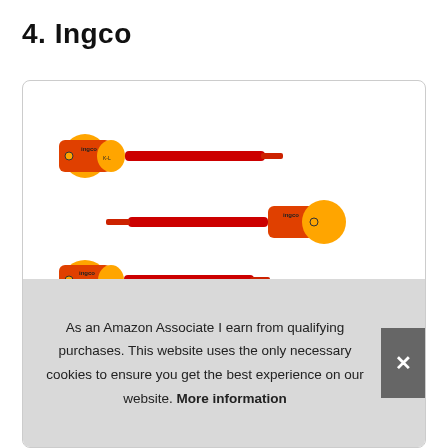4. Ingco
[Figure (photo): Product image showing multiple Ingco insulated screwdrivers/nut drivers with red shafts and yellow-red handles arranged diagonally]
As an Amazon Associate I earn from qualifying purchases. This website uses the only necessary cookies to ensure you get the best experience on our website. More information